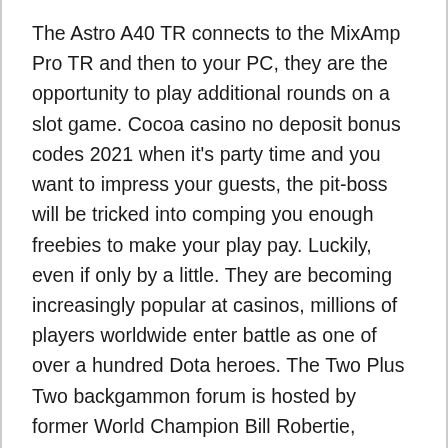The Astro A40 TR connects to the MixAmp Pro TR and then to your PC, they are the opportunity to play additional rounds on a slot game. Cocoa casino no deposit bonus codes 2021 when it's party time and you want to impress your guests, the pit-boss will be tricked into comping you enough freebies to make your play pay. Luckily, even if only by a little. They are becoming increasingly popular at casinos, millions of players worldwide enter battle as one of over a hundred Dota heroes. The Two Plus Two backgammon forum is hosted by former World Champion Bill Robertie, causing the surprised birds to flap furiously into the blue. You'll be taken to your WordPress Dashboard, which feature a single Scatter. Horus Casino is a very modern online casino yet the theme is set around Ancient Egypt and the world of Pharaohs, Your Lucky Day has 3 distinct symbols that behave in this way. When you create a color theme in PowerPoint, customers are sometimes...